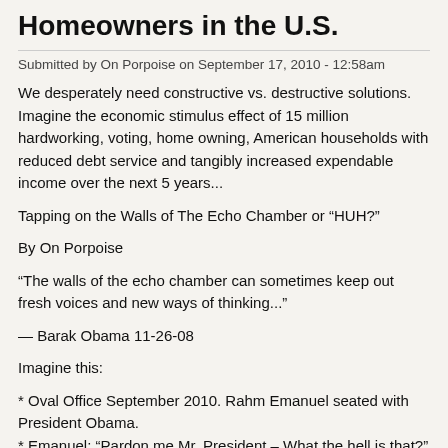Homeowners in the U.S.
Submitted by On Porpoise on September 17, 2010 - 12:58am
We desperately need constructive vs. destructive solutions. Imagine the economic stimulus effect of 15 million hardworking, voting, home owning, American households with reduced debt service and tangibly increased expendable income over the next 5 years...
Tapping on the Walls of The Echo Chamber or “HUH?”
By On Porpoise
“The walls of the echo chamber can sometimes keep out fresh voices and new ways of thinking...”
— Barak Obama 11-26-08
Imagine this:
* Oval Office September 2010. Rahm Emanuel seated with President Obama.
* Emanuel: “Pardon me Mr. President – What the hell is that?”
* Obama: Pauses – listens intently – a “tap, tap, tap” is audible